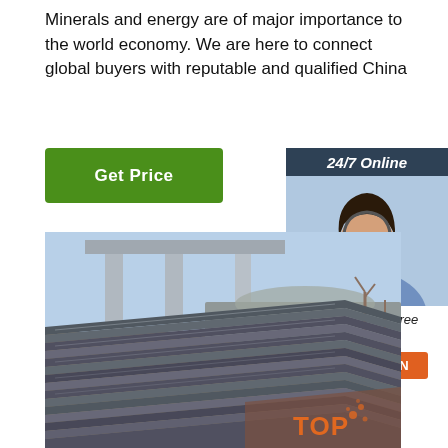Minerals and energy are of major importance to the world economy. We are here to connect global buyers with reputable and qualified China
[Figure (other): Green 'Get Price' button]
[Figure (other): 24/7 Online customer service sidebar widget with photo of woman wearing headset, 'Click here for free chat!' text, and orange QUOTATION button]
[Figure (photo): Stacked steel plates/sheets in an industrial yard with elevated infrastructure in background. TOP badge in bottom right corner.]